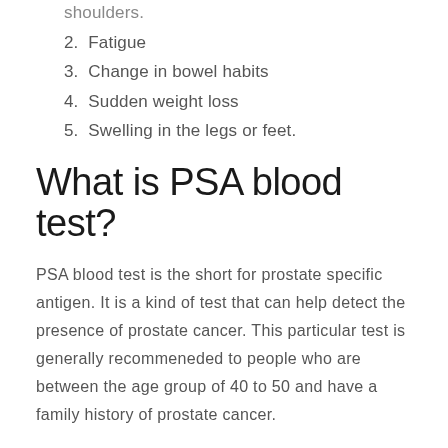shoulders.
2. Fatigue
3. Change in bowel habits
4. Sudden weight loss
5. Swelling in the legs or feet.
What is PSA blood test?
PSA blood test is the short for prostate specific antigen. It is a kind of test that can help detect the presence of prostate cancer. This particular test is generally recommeneded to people who are between the age group of 40 to 50 and have a family history of prostate cancer.
When you take the PSA blood test you get to know your PSA baseline which is very important. For example, if your PSA count at the age of 40 is high then there are